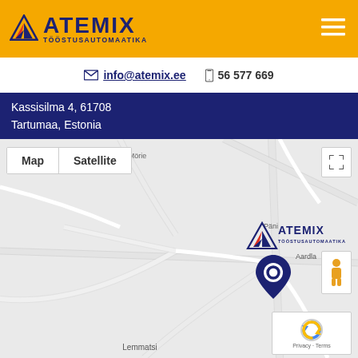[Figure (logo): ATEMIX TÖÖSTUSAUTOMAATIKA logo with orange background, blue triangle/arrow icon and blue text, hamburger menu icon on the right]
info@atemix.ee   56 577 669
Kassisilma 4, 61708
Tartumaa, Estonia
[Figure (map): Google Maps view showing location of ATEMIX TÖÖSTUSAUTOMAATIKA in Tartumaa, Estonia near Aardla and Lemmatsi. Map shows road network with a location pin marker and the ATEMIX logo. Map and Satellite toggle buttons visible, fullscreen button, pegman icon, and Google Privacy/Terms notice.]